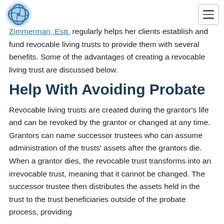Zimmerman, Esq. regularly helps her clients establish and fund revocable living trusts to provide them with several benefits. Some of the advantages of creating a revocable living trust are discussed below.
Help With Avoiding Probate
Revocable living trusts are created during the grantor's life and can be revoked by the grantor or changed at any time. Grantors can name successor trustees who can assume administration of the trusts' assets after the grantors die. When a grantor dies, the revocable trust transforms into an irrevocable trust, meaning that it cannot be changed. The successor trustee then distributes the assets held in the trust to the trust beneficiaries outside of the probate process, providing